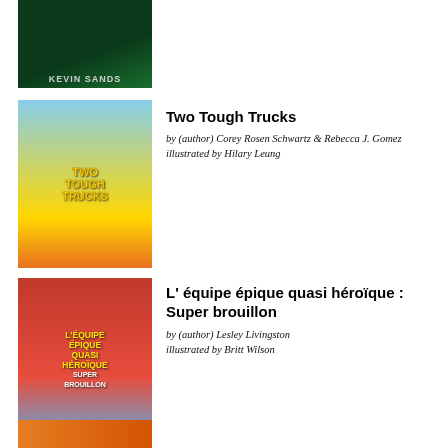[Figure (photo): Book cover of a Kevin Sands book with dark green background, partially visible at top]
[Figure (photo): Book cover of Two Tough Trucks by Corey Rosen Schwartz & Rebecca J. Gomez, illustrated by Hilary Leung, showing two cartoon trucks]
Two Tough Trucks
by (author) Corey Rosen Schwartz & Rebecca J. Gomez
illustrated by Hilary Leung
[Figure (photo): Book cover of L'équipe épique quasi héroïque: Super brouillon by Lesley Livingston, illustrated by Britt Wilson]
L' équipe épique quasi héroïque : Super brouillon
by (author) Lesley Livingston
illustrated by Britt Wilson
[Figure (photo): Partial book cover visible at the bottom of the page]